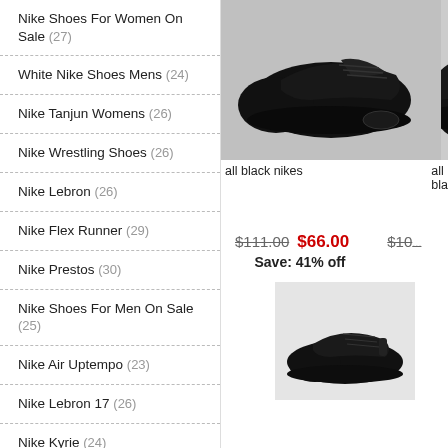Nike Shoes For Women On Sale (27)
White Nike Shoes Mens (24)
Nike Tanjun Womens (26)
Nike Wrestling Shoes (26)
Nike Lebron (26)
Nike Flex Runner (29)
Nike Prestos (30)
Nike Shoes For Men On Sale (25)
Nike Air Uptempo (23)
Nike Lebron 17 (26)
Nike Kyrie (24)
Www Nike Com (25)
Nike Boys Basketball Shoes (28)
Nike Toddler Boy Shoes (23)
Nike Air Max 97 White (22)
[Figure (photo): All black Nike sneaker shown from the side on a light background]
[Figure (photo): Partial view of another all black Nike shoe on right side]
all black nikes
all bla
$111.00  $66.00   $10...   Save: 41% off
[Figure (photo): All black low-top Nike sneaker shown from the side on light background]